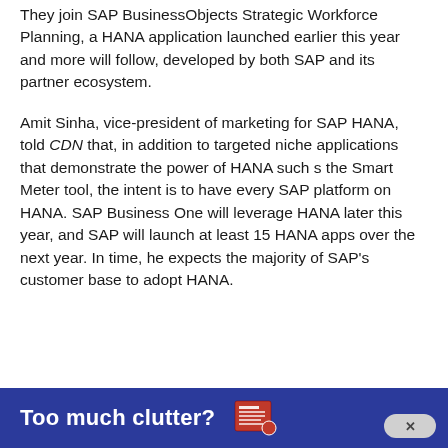They join SAP BusinessObjects Strategic Workforce Planning, a HANA application launched earlier this year and more will follow, developed by both SAP and its partner ecosystem.
Amit Sinha, vice-president of marketing for SAP HANA, told CDN that, in addition to targeted niche applications that demonstrate the power of HANA such s the Smart Meter tool, the intent is to have every SAP platform on HANA. SAP Business One will leverage HANA later this year, and SAP will launch at least 15 HANA apps over the next year. In time, he expects the majority of SAP's customer base to adopt HANA.
[Figure (other): Advertisement banner: dark blue background with bold white text 'Too much clutter?' and a newspaper/document icon, plus a close button (x) in the bottom right.]